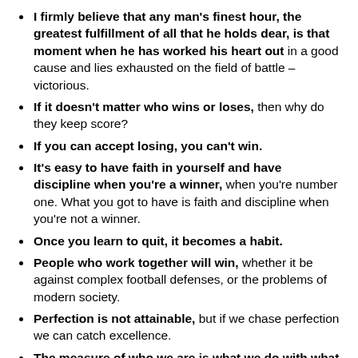I firmly believe that any man's finest hour, the greatest fulfillment of all that he holds dear, is that moment when he has worked his heart out in a good cause and lies exhausted on the field of battle – victorious.
If it doesn't matter who wins or loses, then why do they keep score?
If you can accept losing, you can't win.
It's easy to have faith in yourself and have discipline when you're a winner, when you're number one. What you got to have is faith and discipline when you're not a winner.
Once you learn to quit, it becomes a habit.
People who work together will win, whether it be against complex football defenses, or the problems of modern society.
Perfection is not attainable, but if we chase perfection we can catch excellence.
The measure of who we are is what we do with what we have.